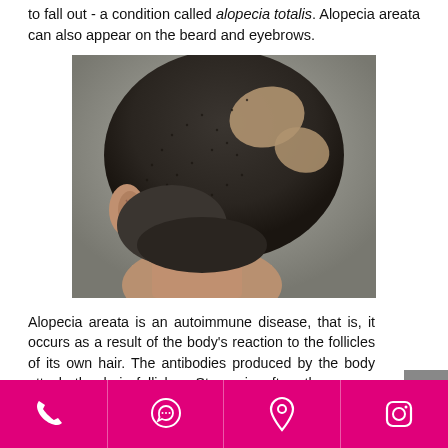to fall out - a condition called alopecia totalis. Alopecia areata can also appear on the beard and eyebrows.
[Figure (photo): Back view of a man's head showing patchy hair loss (alopecia areata) - several bald patches visible on the scalp]
Alopecia areata is an autoimmune disease, that is, it occurs as a result of the body's reaction to the follicles of its own hair. The antibodies produced by the body attack the hair follicles. Stress is often the cause. There is some truth to this but the hair loss situation itself can be a significant source of stress creating a vicious circle.
Phone | WhatsApp | Location | Instagram icons